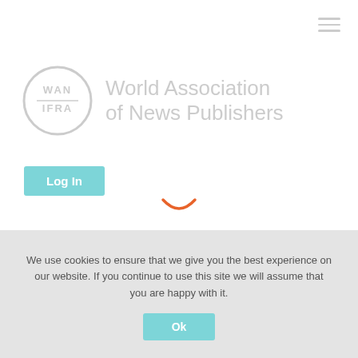[Figure (logo): WAN-IFRA logo: circular badge with WAN IFRA text inside, next to the text 'World Association of News Publishers' in gray]
Log In
[Figure (other): Orange arc/spinner loading indicator]
We use cookies to ensure that we give you the best experience on our website. If you continue to use this site we will assume that you are happy with it.
Ok